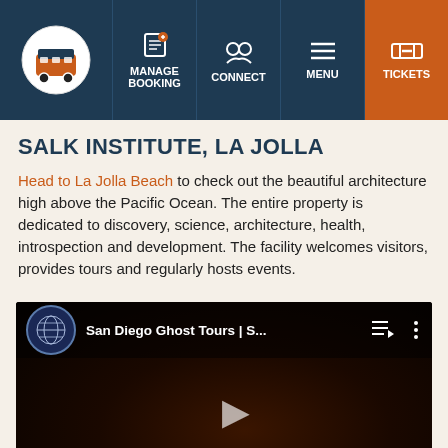MANAGE BOOKING | CONNECT | MENU | TICKETS
SALK INSTITUTE, LA JOLLA
Head to La Jolla Beach to check out the beautiful architecture high above the Pacific Ocean. The entire property is dedicated to discovery, science, architecture, health, introspection and development. The facility welcomes visitors, provides tours and regularly hosts events.
[Figure (screenshot): YouTube video player showing 'San Diego Ghost Tours | S...' with dark scene thumbnail featuring people at night, with play button, playlist and more options icons visible.]